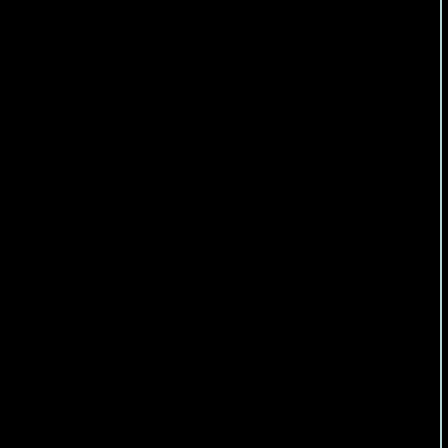wore an Arsenal shirt, and sometimes he didn't. The idea is that if the experimental subject is an Arsenal supporter, they might have a